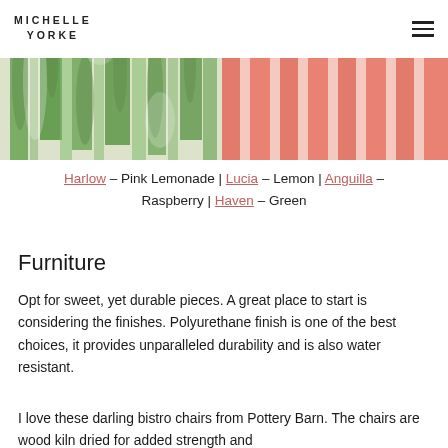MICHELLE YORKE
[Figure (photo): Two fabric swatches side by side: left is a green and white ikat/abstract pattern, right is a coral/salmon vertical stripe pattern]
Harlow – Pink Lemonade | Lucia – Lemon | Anguilla – Raspberry | Haven – Green
Furniture
Opt for sweet, yet durable pieces. A great place to start is considering the finishes. Polyurethane finish is one of the best choices, it provides unparalleled durability and is also water resistant.
I love these darling bistro chairs from Pottery Barn. The chairs are wood kiln dried for added strength and